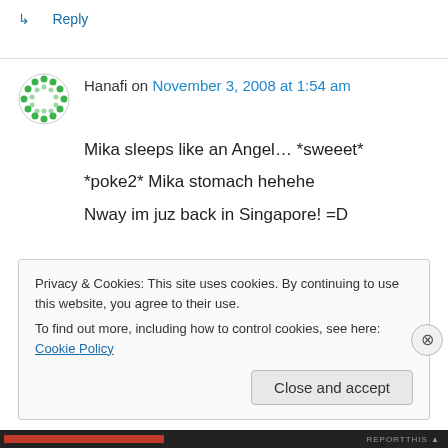↳ Reply
Hanafi on November 3, 2008 at 1:54 am
Mika sleeps like an Angel… *sweeet*
*poke2* Mika stomach hehehe
Nway im juz back in Singapore! =D
Privacy & Cookies: This site uses cookies. By continuing to use this website, you agree to their use.
To find out more, including how to control cookies, see here: Cookie Policy